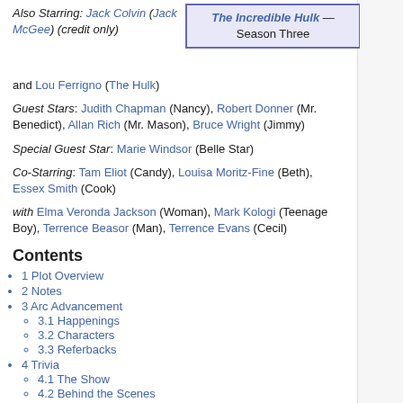The Incredible Hulk — Season Three
Also Starring: Jack Colvin (Jack McGee) (credit only)
and Lou Ferrigno (The Hulk)
Guest Stars: Judith Chapman (Nancy), Robert Donner (Mr. Benedict), Allan Rich (Mr. Mason), Bruce Wright (Jimmy)
Special Guest Star: Marie Windsor (Belle Star)
Co-Starring: Tam Eliot (Candy), Louisa Moritz-Fine (Beth), Essex Smith (Cook)
with Elma Veronda Jackson (Woman), Mark Kologi (Teenage Boy), Terrence Beasor (Man), Terrence Evans (Cecil)
Contents
1 Plot Overview
2 Notes
3 Arc Advancement
3.1 Happenings
3.2 Characters
3.3 Referbacks
4 Trivia
4.1 The Show
4.2 Behind the Scenes
4.3 Allusions and References
4.4 Memorable Moments
5 Quotes
Plot Overview